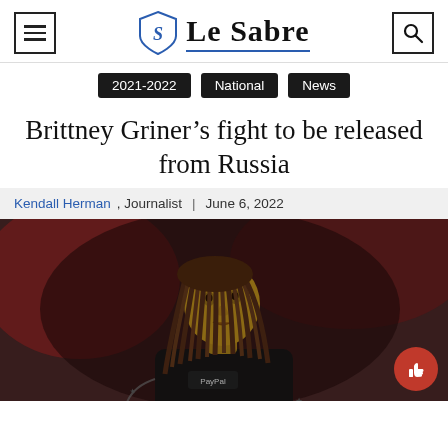Le Sabre
2021-2022
National
News
Brittney Griner’s fight to be released from Russia
Kendall Herman, Journalist | June 6, 2022
[Figure (photo): Brittney Griner in a Phoenix Mercury WNBA uniform with PayPal sponsor logo, dreadlocks, tattoos visible on arms, looking to the side, blurred crowd background]